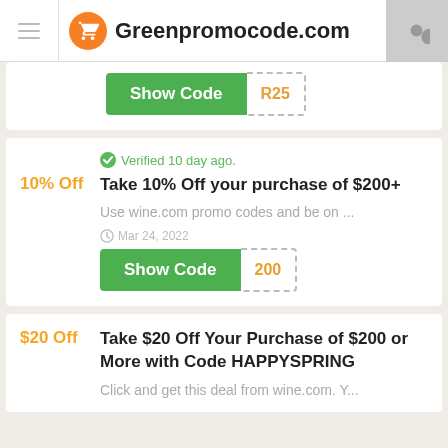Greenpromocode.com
[Figure (screenshot): Partial coupon card showing 'Show Code' button with code R25]
Verified 10 day ago.
10% Off  Take 10% Off your purchase of $200+
Use wine.com promo codes and be on ...
Mar 24, 2022
[Figure (screenshot): Show Code button with code 200 partially revealed]
$20 Off  Take $20 Off Your Purchase of $200 or More with Code HAPPYSPRING
Click and get this deal from wine.com. Y...